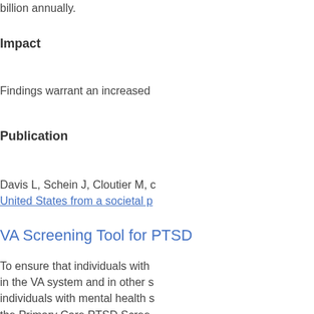billion annually.
Impact
Findings warrant an increased
Publication
Davis L, Schein J, Cloutier M, c
United States from a societal p
VA Screening Tool for PTSD
To ensure that individuals with in the VA system and in other s individuals with mental health s the Primary Care PTSD Scree setting, which is based on crite Disorders (Fourth Edition). In 2